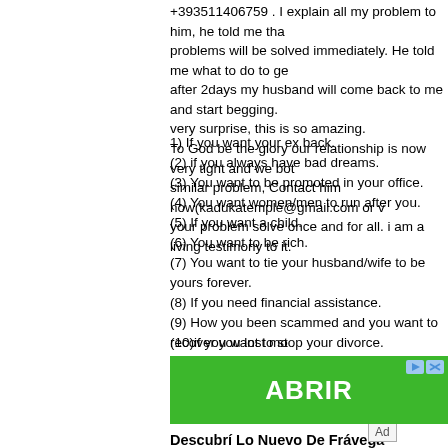+393511406759 . I explain all my problem to him, he told me that problems will be solved immediately. He told me what to do to ge after 2days my husband will come back to me and start begging. very surprise, this is so amazing. To God be the glory our relationship is now very tight and we bot similar problem, Contact him now(kadukatemple@gmail.com or v your problem solve once and for all. i am a living testimony to it.
1) If you want your ex back.
(2) if you always have bad dreams.
(3) You want to be promoted in your office.
(4) You want women/men to run after you.
(5) If you want a child.
(6) You want to be rich.
(7) You want to tie your husband/wife to be yours forever.
(8) If you need financial assistance.
(9) How you been scammed and you want to recover you lost mo
(10)if you want to stop your divorce.
(11)if you want to divorce your husband.
(12)if you want your wishes to be granted
[Figure (other): Green ABRIR advertisement banner button]
Descubrí Lo Nuevo De Frávega
Ad